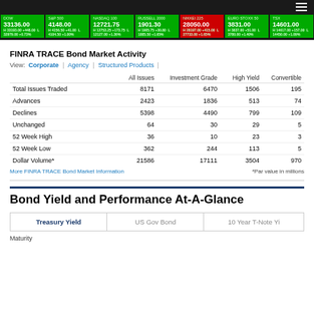[Figure (other): Stock market ticker strip showing index values: DOW 33136.00, S&P 500 4148.00, NASDAQ 100 12721.75, RUSSELL 2000 1901.30, NIKKEI 225 28050.00, EURO STOXX 50 3831.00, TSX 14601.00]
FINRA TRACE Bond Market Activity
View: Corporate | Agency | Structured Products |
|  | All Issues | Investment Grade | High Yield | Convertible |
| --- | --- | --- | --- | --- |
| Total Issues Traded | 8171 | 6470 | 1506 | 195 |
| Advances | 2423 | 1836 | 513 | 74 |
| Declines | 5398 | 4490 | 799 | 109 |
| Unchanged | 64 | 30 | 29 | 5 |
| 52 Week High | 36 | 10 | 23 | 3 |
| 52 Week Low | 362 | 244 | 113 | 5 |
| Dollar Volume* | 21586 | 17111 | 3504 | 970 |
More FINRA TRACE Bond Market Information    *Par value in millions
Bond Yield and Performance At-A-Glance
Treasury Yield | US Gov Bond | 10 Year T-Note Yi